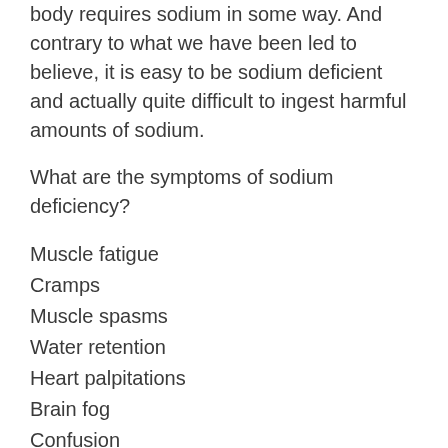body requires sodium in some way. And contrary to what we have been led to believe, it is easy to be sodium deficient and actually quite difficult to ingest harmful amounts of sodium.
What are the symptoms of sodium deficiency?
Muscle fatigue
Cramps
Muscle spasms
Water retention
Heart palpitations
Brain fog
Confusion
Lethargy
What's the deal with coffee